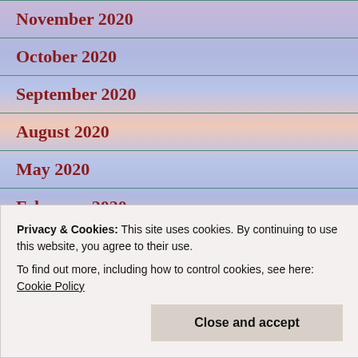November 2020
October 2020
September 2020
August 2020
May 2020
February 2020
Privacy & Cookies: This site uses cookies. By continuing to use this website, you agree to their use. To find out more, including how to control cookies, see here: Cookie Policy
September 2019